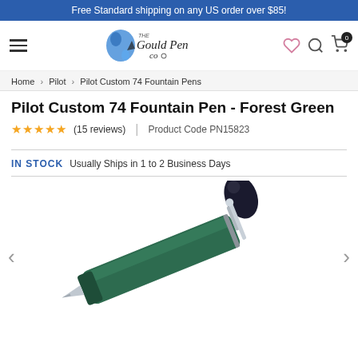Free Standard shipping on any US order over $85!
[Figure (logo): The Gould Pen Co. logo with blue ink splash]
Home > Pilot > Pilot Custom 74 Fountain Pens
Pilot Custom 74 Fountain Pen - Forest Green
★★★★★ (15 reviews)  |  Product Code PN15823
IN STOCK   Usually Ships in 1 to 2 Business Days
[Figure (photo): Pilot Custom 74 Fountain Pen in Forest Green with silver trim, shown diagonally]